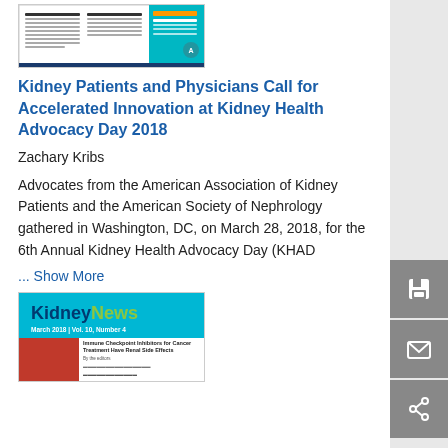[Figure (screenshot): Thumbnail image of a medical journal or newsletter page with multiple columns and a teal/orange cover section]
Kidney Patients and Physicians Call for Accelerated Innovation at Kidney Health Advocacy Day 2018
Zachary Kribs
Advocates from the American Association of Kidney Patients and the American Society of Nephrology gathered in Washington, DC, on March 28, 2018, for the 6th Annual Kidney Health Advocacy Day (KHAD
... Show More
[Figure (screenshot): Thumbnail of KidneyNews magazine cover with teal header, showing 'Immune Checkpoint Inhibitors for Cancer Treatment Have Renal Side Effects']